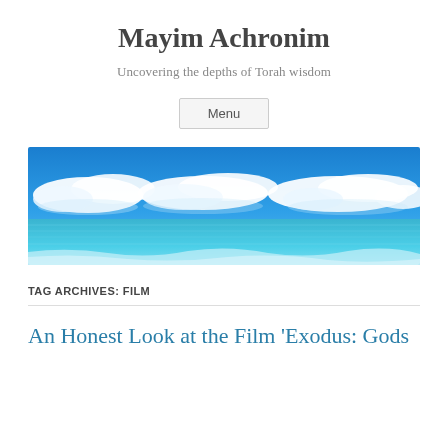Mayim Achronim
Uncovering the depths of Torah wisdom
Menu
[Figure (photo): Wide panoramic photo of a tropical ocean scene with vivid blue sky, white puffy clouds along the horizon, and turquoise-blue water with gentle waves in the foreground.]
TAG ARCHIVES: FILM
An Honest Look at the Film ‘Exodus: Gods